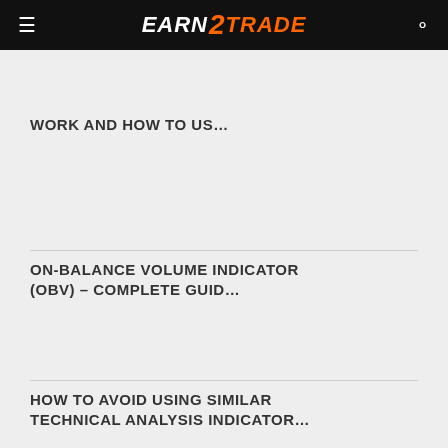EARN2TRADE
WORK AND HOW TO US…
ON-BALANCE VOLUME INDICATOR (OBV) – COMPLETE GUID…
HOW TO AVOID USING SIMILAR TECHNICAL ANALYSIS INDICATOR…